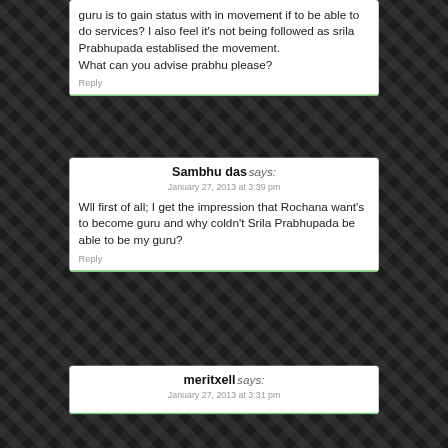guru is to gain status with in movement if to be able to do services? I also feel it's not being followed as srila Prabhupada establised the movement.
What can you advise prabhu please?
Reply
Sambhu das says:
January 27, 2013 at 3:39 pm
Wll first of all; I get the impression that Rochana want's to become guru and why coldn't Srila Prabhupada be able to be my guru?
Reply
meritxell says:
January 27, 2013 at 3:31 pm